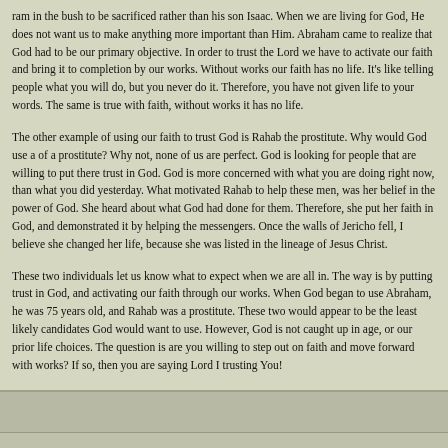ram in the bush to be sacrificed rather than his son Isaac. When we are living for God, He does not want us to make anything more important than Him. Abraham came to realize that God had to be our primary objective. In order to trust the Lord we have to activate our faith and bring it to completion by our works. Without works our faith has no life. It's like telling people what you will do, but you never do it. Therefore, you have not given life to your words. The same is true with faith, without works it has no life.
The other example of using our faith to trust God is Rahab the prostitute. Why would God use a of a prostitute? Why not, none of us are perfect. God is looking for people that are willing to put there trust in God. God is more concerned with what you are doing right now, than what you did yesterday. What motivated Rahab to help these men, was her belief in the power of God. She heard about what God had done for them. Therefore, she put her faith in God, and demonstrated it by helping the messengers. Once the walls of Jericho fell, I believe she changed her life, because she was listed in the lineage of Jesus Christ.
These two individuals let us know what to expect when we are all in. The way is by putting trust in God, and activating our faith through our works. When God began to use Abraham, he was 75 years old, and Rahab was a prostitute. These two would appear to be the least likely candidates God would want to use. However, God is not caught up in age, or our prior life choices. The question is are you willing to step out on faith and move forward with works? If so, then you are saying Lord I trusting You!